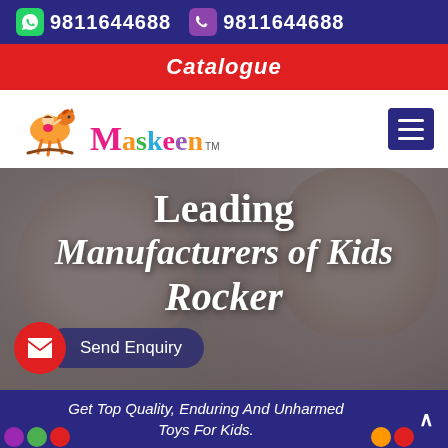9811644688  9811644688
Catalogue
[Figure (logo): Maskeen brand logo with colorful letters and a toy horse icon, TM mark]
Leading Manufacturers of Kids Rocker
Send Enquiry
Get Top Quality, Enduring And Unharmed Toys For Kids.